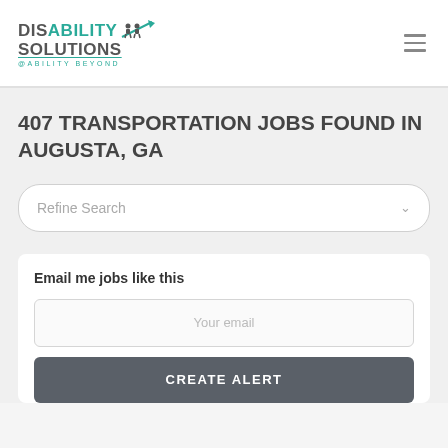[Figure (logo): Disability Solutions logo with teal and gray text, person icons, arrow icon, and tagline ABILITY BEYOND]
407 TRANSPORTATION JOBS FOUND IN AUGUSTA, GA
Refine Search
Email me jobs like this
Your email
CREATE ALERT